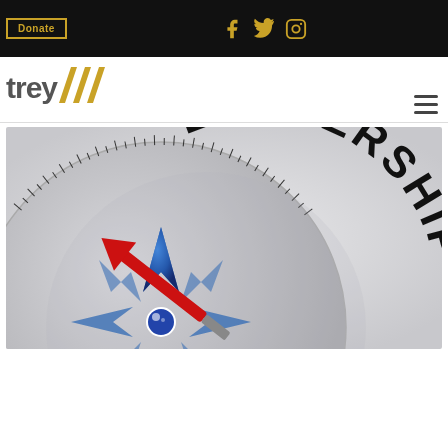Donate | Social icons (Facebook, Twitter, Instagram)
[Figure (logo): Trey logo with yellow chevron/slash marks]
[Figure (photo): Compass with red arrow pointing to LEADERSHIP text on the compass ring, blue compass rose visible]